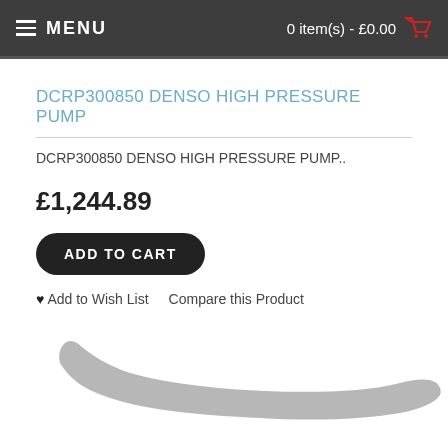MENU  0 item(s) - £0.00
DCRP300850 DENSO HIGH PRESSURE PUMP
DCRP300850 DENSO HIGH PRESSURE PUMP..
£1,244.89
ADD TO CART
♥ Add to Wish List   Compare this Product
[Figure (photo): Partial view of a high pressure pump component, shown in grey against white background, curved elongated shape visible at bottom of page]